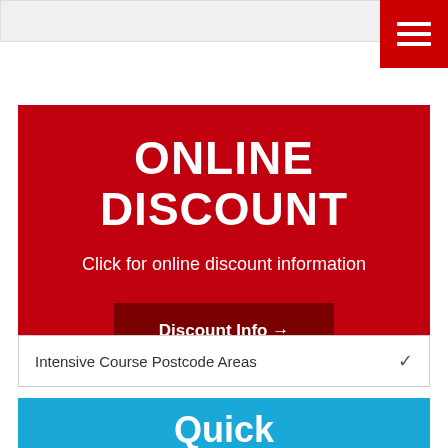[Figure (screenshot): Red hamburger menu button with three white horizontal lines on a red background]
ONLINE DISCOUNT
Click for online discount information
Discount Info →
Intensive Course Postcode Areas
Quick